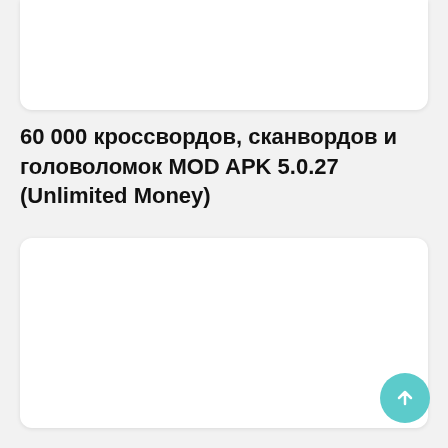[Figure (other): White card/image placeholder at top of page]
60 000 кроссвордов, сканвордов и головоломок MOD APK 5.0.27 (Unlimited Money)
[Figure (other): White card/image placeholder in middle of page]
Mouse Run MOD APK 1.0.5 (Unlimited Money)
[Figure (other): White card/image placeholder at bottom of page (partial)]